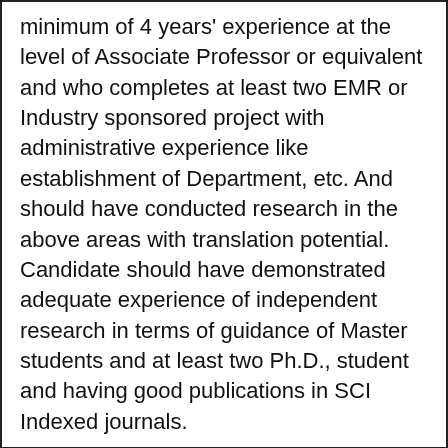minimum of 4 years' experience at the level of Associate Professor or equivalent and who completes at least two EMR or Industry sponsored project with administrative experience like establishment of Department, etc. And should have conducted research in the above areas with translation potential. Candidate should have demonstrated adequate experience of independent research in terms of guidance of Master students and at least two Ph.D., student and having good publications in SCI Indexed journals.
2. Professor –
Essential: Ph. D in Pharmaceutical Sciences with First class or equivalent grade at the preceding degree (M.Pharm / MS) in Pharmaceutics / Pharmaceutical Technology (Formulations) (Industrial Pharmacy with a very